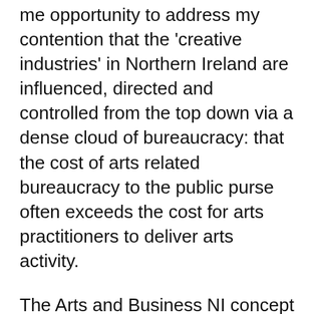me opportunity to address my contention that the 'creative industries' in Northern Ireland are influenced, directed and controlled from the top down via a dense cloud of bureaucracy: that the cost of arts related bureaucracy to the public purse often exceeds the cost for arts practitioners to deliver arts activity.
The Arts and Business NI concept does seem like the right direction and congratulations to those arts organisations, such as Young At Art, Maiden Voyage Dance and Eastside Arts, who were acknowledged at the recent awards ceremony. But it does appear to only engage large corporate bodies from the world of big business. There